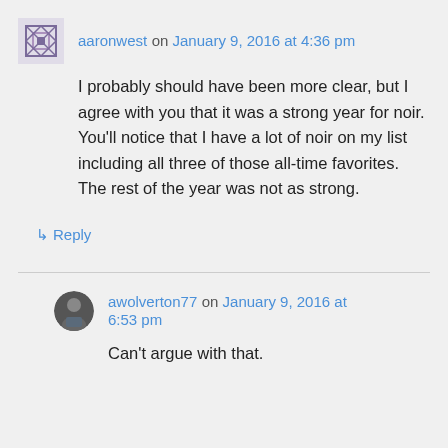aaronwest on January 9, 2016 at 4:36 pm
I probably should have been more clear, but I agree with you that it was a strong year for noir. You'll notice that I have a lot of noir on my list including all three of those all-time favorites. The rest of the year was not as strong.
↳ Reply
awolverton77 on January 9, 2016 at 6:53 pm
Can't argue with that.